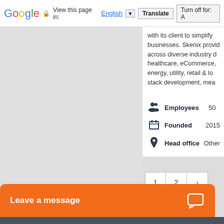Google | View this page in: English [▼] | Translate | Turn off for: A
with its client to simplify businesses. Skenix provides across diverse industry de healthcare, eCommerce, energy, utility, retail & log stack development, mea
| Icon | Label | Value |
| --- | --- | --- |
| 👥 | Employees | 50 |
| 📅 | Founded | 2015 |
| 📍 | Head office | Other |
1  2  ›
Leave a message